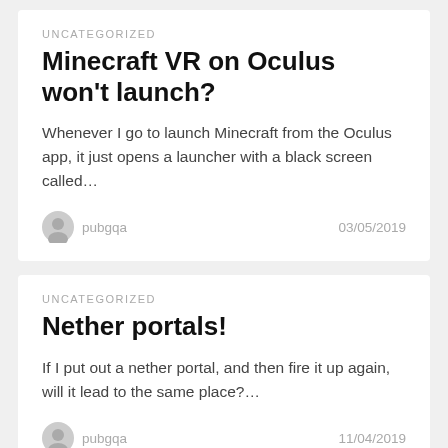UNCATEGORIZED
Minecraft VR on Oculus won't launch?
Whenever I go to launch Minecraft from the Oculus app, it just opens a launcher with a black screen called…
pubgqa   03/05/2019
UNCATEGORIZED
Nether portals!
If I put out a nether portal, and then fire it up again, will it lead to the same place?…
pubgqa   11/04/2019